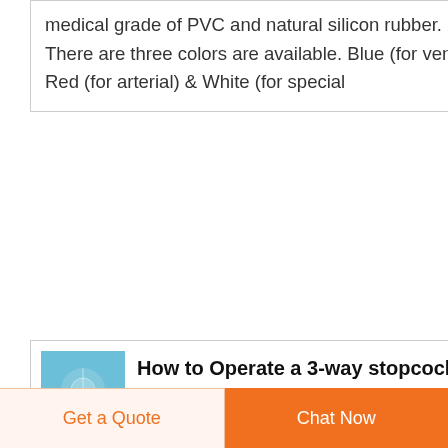medical grade of PVC and natural silicon rubber. 2. There are three colors are available. Blue (for venous), Red (for arterial) & White (for special
How to Operate a 3-way stopcockTwin Trees Vet
· -a 3-way stopcock-an extension set (we usually use a 30 cm regular extension set)-a syringe (60cc, 35cc, 20cc or 12cc depending on
Get a Quote
Chat Now